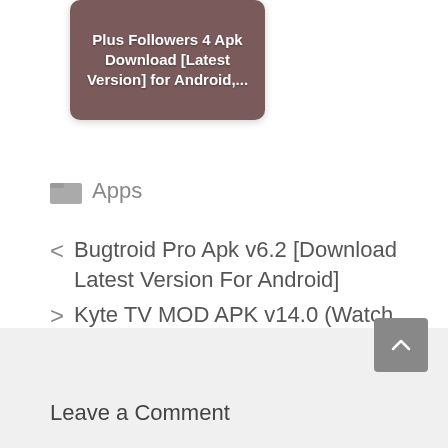[Figure (screenshot): App thumbnail card with dark brownish-red background showing text 'Plus Followers 4 Apk Download [Latest Version] for Android,...']
Apps
< Bugtroid Pro Apk v6.2 [Download Latest Version For Android]
> Kyte TV MOD APK v14.0 (Watch Unlimited HD Movies Free For Android)
Leave a Comment